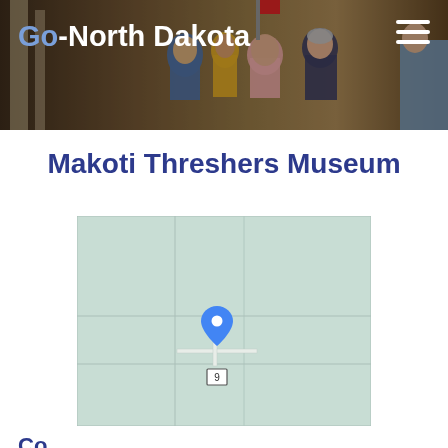Go-North Dakota
Makoti Threshers Museum
[Figure (map): Google Maps embed showing location of Makoti Threshers Museum in North Dakota with a blue map pin marker and route 9 label]
Contact Info